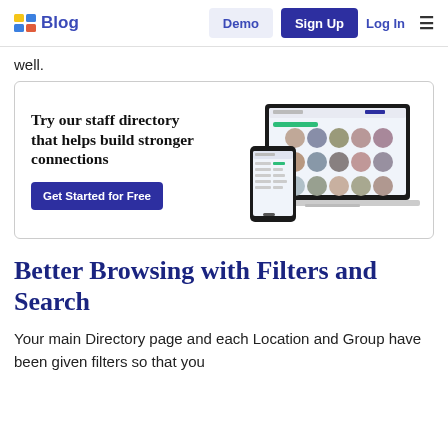Blog | Demo | Sign Up | Log In
well.
[Figure (screenshot): Promotional banner with headline 'Try our staff directory that helps build stronger connections', a 'Get Started for Free' button, and a screenshot mockup of a staff directory app on laptop and mobile.]
Better Browsing with Filters and Search
Your main Directory page and each Location and Group have been given filters so that you